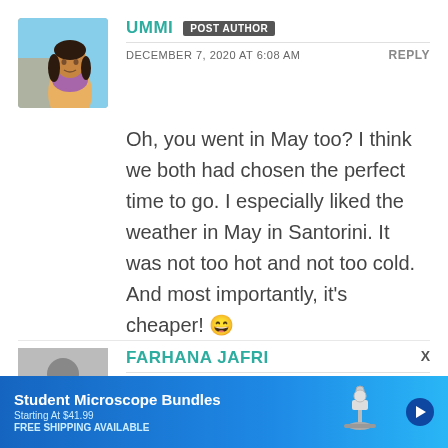[Figure (photo): Profile photo of Ummi, a woman with long dark hair wearing a purple scarf, with a building in the background]
UMMI  POST AUTHOR
DECEMBER 7, 2020 AT 6:08 AM  REPLY
Oh, you went in May too? I think we both had chosen the perfect time to go. I especially liked the weather in May in Santorini. It was not too hot and not too cold. And most importantly, it's cheaper! 😄
[Figure (photo): Generic grey placeholder avatar icon showing a silhouette of a person]
FARHANA JAFRI
DECEMBER 7, 2020 AT 3:05 PM  REP
[Figure (screenshot): Advertisement banner for Student Microscope Bundles, Starting At $41.99, FREE SHIPPING AVAILABLE, with microscope image on blue background]